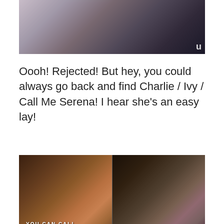[Figure (screenshot): Top portion of a TV show screenshot showing two people close together, with a CW network logo visible]
Oooh!  Rejected!  But hey, you could always go back and find Charlie / Ivy / Call Me Serena!  I hear she's an easy lay!
[Figure (screenshot): Two side-by-side screenshots from a CW TV show. Left shows a woman with subtitle 'You can call me Serena.' Right shows a man reacting with subtitle '...What?!']
Source
What have I done to deserve Donut?
Now at the hotel, Dan and Blair are bickering, because